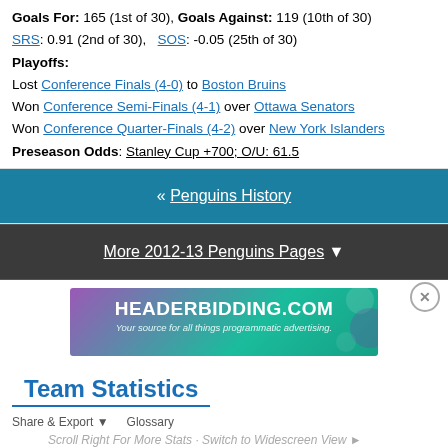Goals For: 165 (1st of 30), Goals Against: 119 (10th of 30)
SRS: 0.91 (2nd of 30),  SOS: -0.05 (25th of 30)
Playoffs:
Lost Conference Finals (4-0) to Boston Bruins
Won Conference Semi-Finals (4-1) over Ottawa Senators
Won Conference Quarter-Finals (4-2) over New York Islanders
Preseason Odds: Stanley Cup +700; O/U: 61.5
« Penguins History
More 2012-13 Penguins Pages ▼
[Figure (other): HEADERBIDDING.COM advertisement banner - Your source for all things programmatic advertising.]
Team Statistics
Share & Export ▼   Glossary
Scroll Right For More Stats · Switch to Widescreen View ►
| Team | AvAge | GP | W | L | OL | PTS | PTS% | GF | GA | SRS | SOS | SF |
| --- | --- | --- | --- | --- | --- | --- | --- | --- | --- | --- | --- | --- |